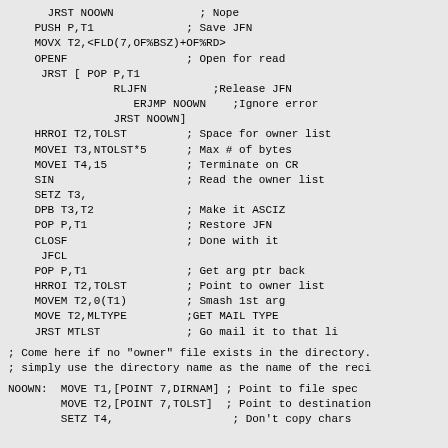JRST NOOWN ; Nope
PUSH P,T1 ; Save JFN
MOVX T2,<FLD(7,OF%BSZ)+OF%RD>
OPENF ; Open for read
 JRST [ POP P,T1
        RLJFN ;Release JFN
           ERJMP NOOWN ;Ignore error
        JRST NOOWN]
HRROI T2,TOLST ; Space for owner list
MOVEI T3,NTOLST*5 ; Max # of bytes
MOVEI T4,15 ; Terminate on CR
SIN ; Read the owner list
SETZ T3,
DPB T3,T2 ; Make it ASCIZ
POP P,T1 ; Restore JFN
CLOSF ; Done with it
 JFCL
POP P,T1 ; Get arg ptr back
HRROI T2,TOLST ; Point to owner list
MOVEM T2,0(T1) ; Smash 1st arg
MOVE T2,MLTYPE ;GET MAIL TYPE
JRST MTLST ; Go mail it to that li
; Come here if no "owner" file exists in the directory.
; simply use the directory name as the name of the reci
NOOWN: MOVE T1,[POINT 7,DIRNAM] ; Point to file spec
       MOVE T2,[POINT 7,TOLST]  ; Point to destination
       SETZ T4,                  ; Don't copy chars